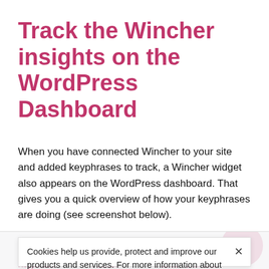Track the Wincher insights on the WordPress Dashboard
When you have connected Wincher to your site and added keyphrases to track, a Wincher widget also appears on the WordPress dashboard. That gives you a quick overview of how your keyphrases are doing (see screenshot below).
[Figure (screenshot): Partial screenshot of the WordPress dashboard showing a Wincher widget for top performing keyphrases, partially obscured by a cookie consent banner.]
Cookies help us provide, protect and improve our products and services. For more information about our use of cookies, please refer to our Privacy policy.